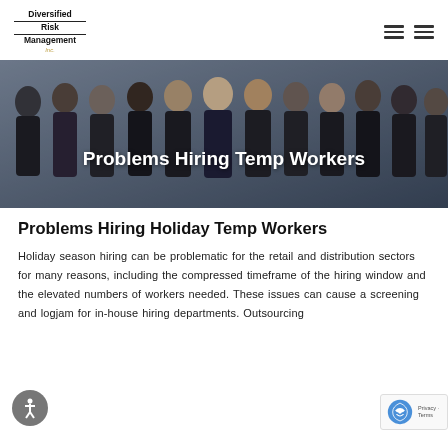Diversified Risk Management Inc.
[Figure (photo): Group photo of diverse business professionals in formal attire, used as hero banner for the article.]
Problems Hiring Temp Workers
Problems Hiring Holiday Temp Workers
Holiday season hiring can be problematic for the retail and distribution sectors for many reasons, including the compressed timeframe of the hiring window and the elevated numbers of workers needed. These issues can cause a screening and logjam for in-house hiring departments. Outsourcing